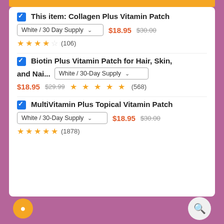This item: Collagen Plus Vitamin Patch — White / 30 Day Supply — $18.95 $30.00 — 4.5 stars (106)
Biotin Plus Vitamin Patch for Hair, Skin, and Nai... — White / 30-Day Supply — $18.95 $29.99 — 5 stars (568)
MultiVitamin Plus Topical Vitamin Patch — White / 30-Day Supply — $18.95 $30.00 — 5 stars (1878)